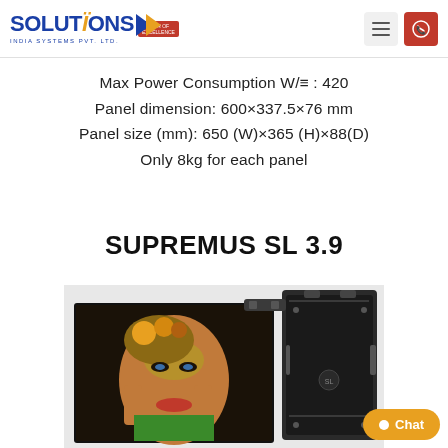Solutions India Systems Pvt. Ltd. — navigation header with logo and menu/call buttons
Max Power Consumption W/≡ : 420
Panel dimension: 600×337.5×76 mm
Panel size (mm): 650 (W)×365 (H)×88(D)
Only 8kg for each panel
SUPREMUS SL 3.9
[Figure (photo): Product photo of SUPREMUS SL 3.9 LED display panel showing a woman's face on the display screen alongside the back/side of the panel cabinet]